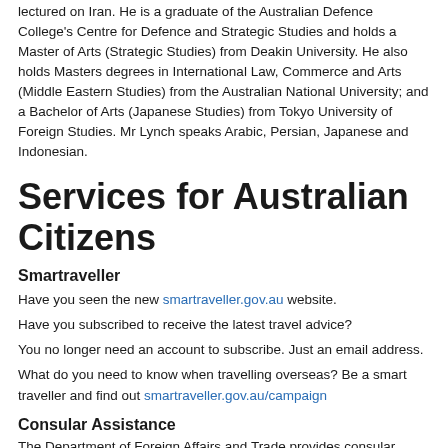lectured on Iran. He is a graduate of the Australian Defence College's Centre for Defence and Strategic Studies and holds a Master of Arts (Strategic Studies) from Deakin University. He also holds Masters degrees in International Law, Commerce and Arts (Middle Eastern Studies) from the Australian National University; and a Bachelor of Arts (Japanese Studies) from Tokyo University of Foreign Studies. Mr Lynch speaks Arabic, Persian, Japanese and Indonesian.
Services for Australian Citizens
Smartraveller
Have you seen the new smartraveller.gov.au website.
Have you subscribed to receive the latest travel advice?
You no longer need an account to subscribe. Just an email address.
What do you need to know when travelling overseas? Be a smart traveller and find out smartraveller.gov.au/campaign
Consular Assistance
The Department of Foreign Affairs and Trade provides consular...